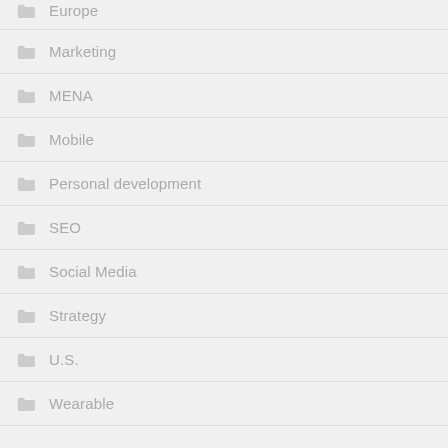Europe
Marketing
MENA
Mobile
Personal development
SEO
Social Media
Strategy
U.S.
Wearable